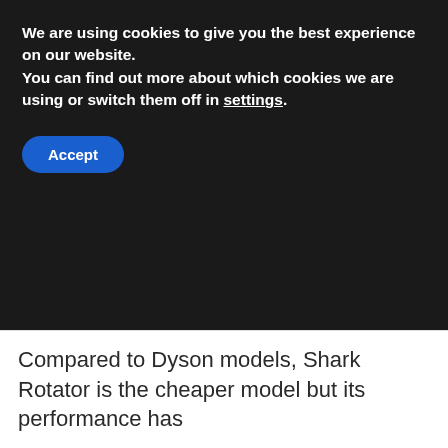We are using cookies to give you the best experience on our website.
You can find out more about which cookies we are using or switch them off in settings.
Accept
Compared to Dyson models, Shark Rotator is the cheaper model but its performance has